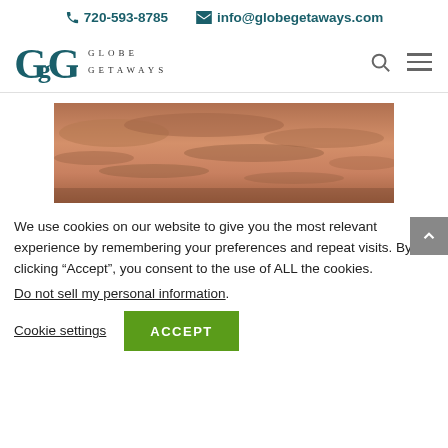📞 720-593-8785   ✉ info@globegetaways.com
[Figure (logo): Globe Getaways logo with stylized GG lettermark in teal and wordmark GLOBE GETAWAYS]
[Figure (photo): Sunset or dusk sky photo with warm orange/peach tones and clouds]
We use cookies on our website to give you the most relevant experience by remembering your preferences and repeat visits. By clicking “Accept”, you consent to the use of ALL the cookies.
Do not sell my personal information.
Cookie settings   ACCEPT